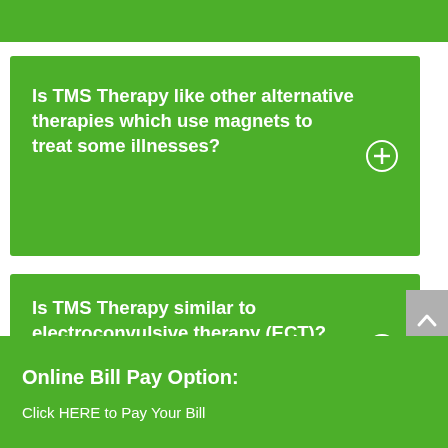Is TMS Therapy like other alternative therapies which use magnets to treat some illnesses?
Is TMS Therapy similar to electroconvulsive therapy (ECT)?
Online Bill Pay Option:
Click HERE to Pay Your Bill